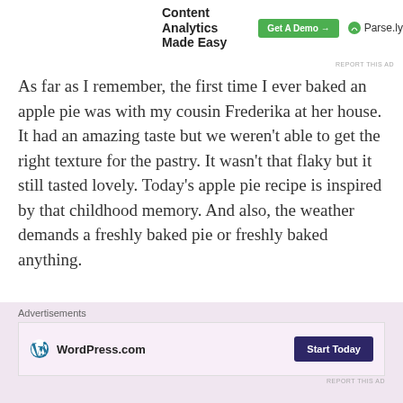[Figure (other): Parse.ly advertisement banner: 'Content Analytics Made Easy' with a green 'Get A Demo →' button and Parse.ly logo]
As far as I remember, the first time I ever baked an apple pie was with my cousin Frederika at her house. It had an amazing taste but we weren't able to get the right texture for the pastry. It wasn't that flaky but it still tasted lovely. Today's apple pie recipe is inspired by that childhood memory. And also, the weather demands a freshly baked pie or freshly baked anything.
CHOOSING THE RIGHT TYPE OF APPLES:
[Figure (other): WordPress.com advertisement with pink background, WordPress logo, and 'Start Today' dark purple button. Label 'Advertisements' above it.]